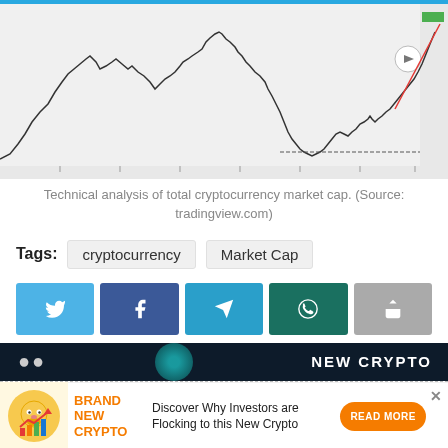[Figure (continuous-plot): Technical analysis line chart of total cryptocurrency market cap showing price history with a large peak followed by decline and partial recovery, with a red trend line at the end. Source: tradingview.com]
Technical analysis of total cryptocurrency market cap. (Source: tradingview.com)
Tags:  cryptocurrency   Market Cap
[Figure (infographic): Social sharing buttons row: Twitter (light blue), Facebook (dark blue), Telegram (medium blue), WhatsApp (dark teal), Share (gray)]
[Figure (infographic): Dark banner with teal circle and text: NEW CRYPTO]
[Figure (infographic): Advertisement bar: orange crypto mascot icon, BRAND NEW CRYPTO text in orange, 'Discover Why Investors are Flocking to this New Crypto' text, orange READ MORE button, X close button]